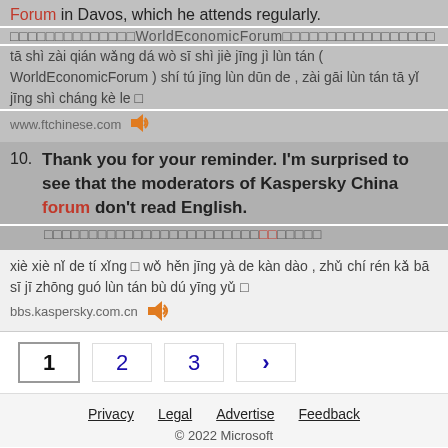Forum in Davos, which he attends regularly.
□□□□□□□□□□□□□□WorldEconomicForum□□□□□□□□□□□□□□□□□
tā shì zài qián wǎng dá wò sī shì jiè jīng jì lùn tán ( WorldEconomicForum ) shí tú jīng lùn dūn de , zài gāi lùn tán tā yǐ jīng shì cháng kè le □
www.ftchinese.com
10. Thank you for your reminder. I'm surprised to see that the moderators of Kaspersky China forum don't read English.
□□□□□□□□□□□□□□□□□□□□□□□□□□□□□□□□□□□
xiè xiè nǐ de tí xǐng □ wǒ hěn jīng yà de kàn dào , zhǔ chí rén kǎ bā sī jī zhōng guó lùn tán bù dú yīng yǔ □
bbs.kaspersky.com.cn
1 2 3 >
Privacy  Legal  Advertise  Feedback  © 2022 Microsoft